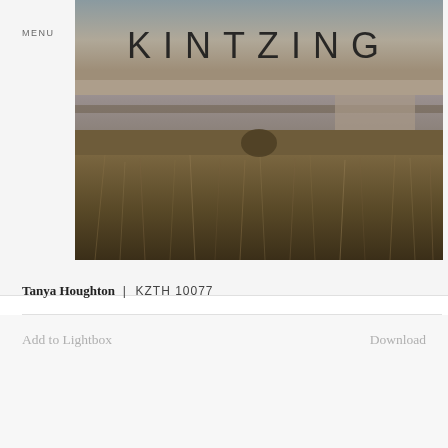MENU
[Figure (photo): Landscape photograph of a flat marshy wetland with dry grasses in the foreground, still water reflecting a pale sky in the middle ground, and a wide open sky above. The image has muted brownish-olive tones. The word KINTZING appears in large spaced capital letters across the top of the image.]
Tanya Houghton | KZTH10077
Add to Lightbox
Download